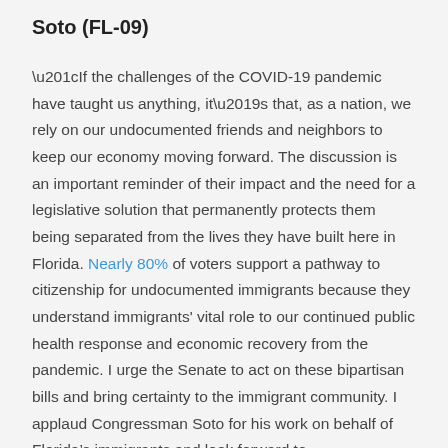Soto (FL-09)
“If the challenges of the COVID-19 pandemic have taught us anything, it’s that, as a nation, we rely on our undocumented friends and neighbors to keep our economy moving forward. The discussion is an important reminder of their impact and the need for a legislative solution that permanently protects them being separated from the lives they have built here in Florida. Nearly 80% of voters support a pathway to citizenship for undocumented immigrants because they understand immigrants' vital role to our continued public health response and economic recovery from the pandemic. I urge the Senate to act on these bipartisan bills and bring certainty to the immigrant community. I applaud Congressman Soto for his work on behalf of Florida’s immigrants and look forward to